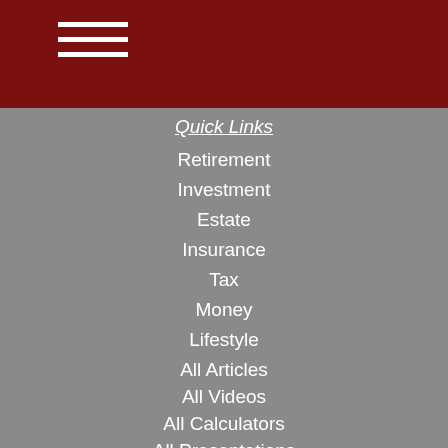Quick Links
Retirement
Investment
Estate
Insurance
Tax
Money
Lifestyle
All Articles
All Videos
All Calculators
All Presentations
Check the background of your financial professional on FINRA's BrokerCheck.
The content is developed from sources believed to be providing accurate information. The information in this material is not